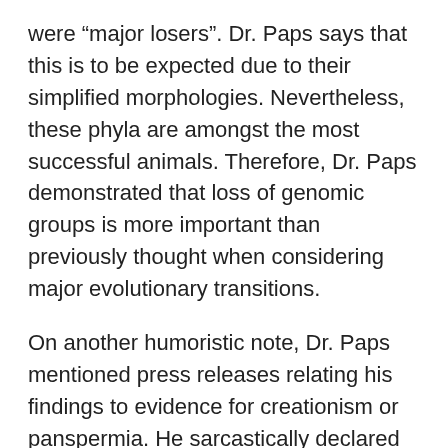were “major losers”. Dr. Paps says that this is to be expected due to their simplified morphologies. Nevertheless, these phyla are amongst the most successful animals. Therefore, Dr. Paps demonstrated that loss of genomic groups is more important than previously thought when considering major evolutionary transitions.
On another humoristic note, Dr. Paps mentioned press releases relating his findings to evidence for creationism or panspermia. He sarcastically declared he appreciates the attention.
Through the use of his novel analytical tools for phylogenetics, Dr. Paps has been able to shed light on not only the origins of animals, but also the origins of plants and other animal clades. Finally, he concluded the seminar by announcing that he will now be